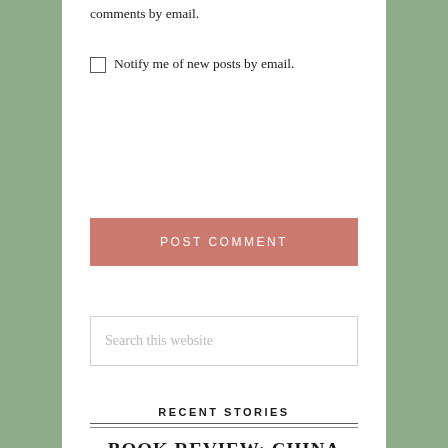comments by email.
☐ Notify me of new posts by email.
POST COMMENT
Search this website
RECENT STORIES
BOOK REVIEW: CHINA HAND BY SCOTT SPACEK